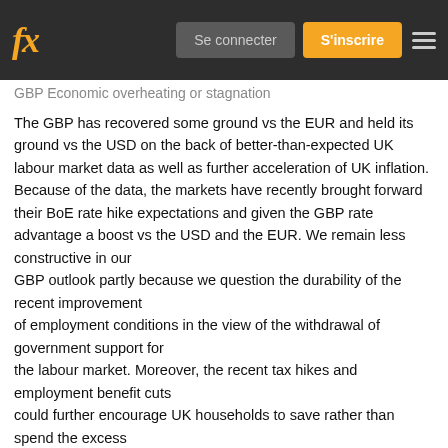fx  Se connecter  S'inscrire
GBP Economic overheating or stagnation
The GBP has recovered some ground vs the EUR and held its ground vs the USD on the back of better-than-expected UK labour market data as well as further acceleration of UK inflation. Because of the data, the markets have recently brought forward their BoE rate hike expectations and given the GBP rate advantage a boost vs the USD and the EUR. We remain less constructive in our GBP outlook partly because we question the durability of the recent improvement of employment conditions in the view of the withdrawal of government support for the labour market. Moreover, the recent tax hikes and employment benefit cuts could further encourage UK households to save rather than spend the excess savings that they have amassed during the pandemic. We also think that the recent increase in inflation reflects labour market shortage and supply chain disruptions due to the pandemic and Brexit and should not be seen as evidence